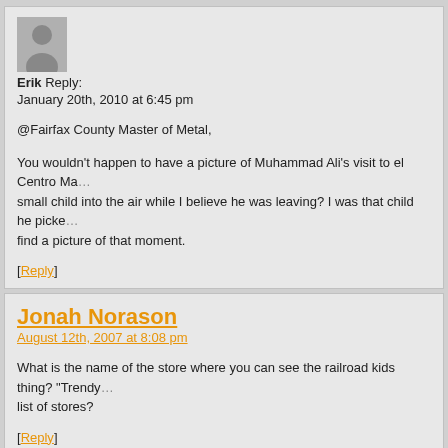[Figure (illustration): Generic user avatar icon - grey silhouette of a person on a slightly darker grey background]
Erik Reply:
January 20th, 2010 at 6:45 pm
@Fairfax County Master of Metal,

You wouldn't happen to have a picture of Muhammad Ali's visit to el Centro Ma... small child into the air while I believe he was leaving? I was that child he picked... find a picture of that moment.
[Reply]
Jonah Norason
August 12th, 2007 at 8:08 pm
What is the name of the store where you can see the railroad kids thing? "Trendy... list of stores?
[Reply]